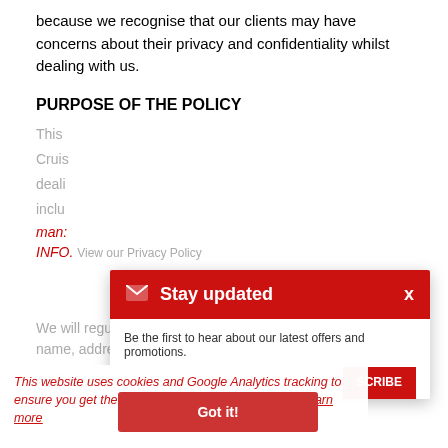because we recognise that our clients may have concerns about their privacy and confidentiality whilst dealing with us.
PURPOSE OF THE POLICY
This [policy applies to] Cruises [and] dealing [with] inclu[ding] many [matters]
INFO[RMATION]
We will regularly colle[ct] personal information including your name, address, phone number, fax number or email address, and credit card details, as well as the details of
[Figure (screenshot): Stay updated popup overlay with red header, envelope icon, title 'Stay updated', close X button, description text 'Be the first to hear about our latest offers and promotions.', email input field, and SUBSCRIBE button]
This website uses cookies and Google Analytics tracking to ensure you get the best experience on our website. Learn more
[Figure (screenshot): Got it! button - red rounded rectangle button with white bold text 'Got it!']